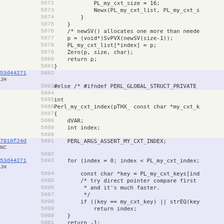[Figure (screenshot): Source code viewer showing C/Perl code lines 5872-5904 with git blame annotations (commit hashes and author initials in left margin). Code includes PL_my_cxt_size, Newx, newSV, Zero, return statements, and a Perl_my_cxt_index function with for loop. Highlighted rows show commits 53d44271 JH and 7918f24d NC.]